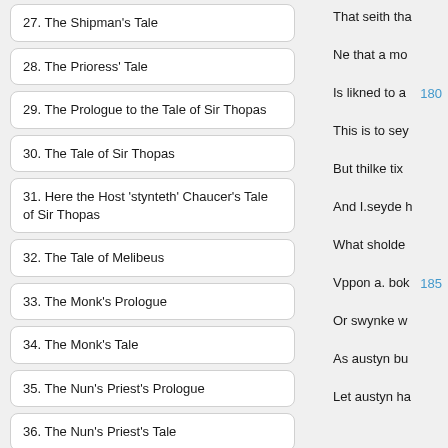27. The Shipman's Tale
28. The Prioress' Tale
29. The Prologue to the Tale of Sir Thopas
30. The Tale of Sir Thopas
31. Here the Host 'stynteth' Chaucer's Tale of Sir Thopas
32. The Tale of Melibeus
33. The Monk's Prologue
34. The Monk's Tale
35. The Nun's Priest's Prologue
36. The Nun's Priest's Tale
37. The Manciple's Prologue
That seith tha
Ne that a mo
180  Is likned to a
This is to sey
But thilke tix
And I.seyde h
What sholde
185  Vppon a. bok
Or swynke w
As austyn bu
Let austyn ha